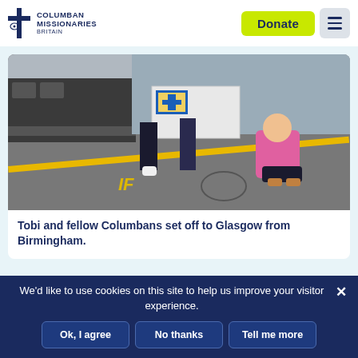Columban Missionaries Britain | Donate | Menu
[Figure (photo): People standing on a train station platform holding a banner with a cross and blue/yellow logo, a woman in a pink jacket crouching on the right]
Tobi and fellow Columbans set off to Glasgow from Birmingham.
I believe the term ‘world’s good’ refers to certain privileges, and in my part of the world I believe I obtain some of these ‘world’s
We’d like to use cookies on this site to help us improve your visitor experience.
Ok, I agree | No thanks | Tell me more